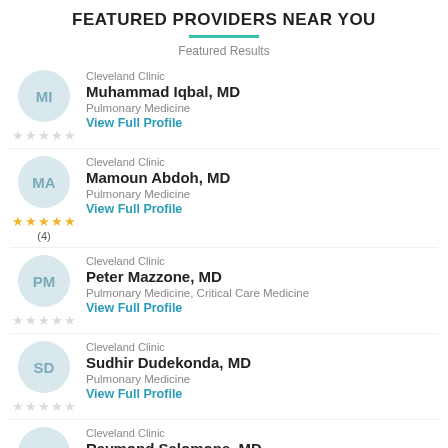FEATURED PROVIDERS NEAR YOU
Featured Results
Cleveland Clinic
Muhammad Iqbal, MD
Pulmonary Medicine
View Full Profile
Cleveland Clinic
Mamoun Abdoh, MD
Pulmonary Medicine
View Full Profile
Cleveland Clinic
Peter Mazzone, MD
Pulmonary Medicine, Critical Care Medicine
View Full Profile
Cleveland Clinic
Sudhir Dudekonda, MD
Pulmonary Medicine
View Full Profile
Cleveland Clinic
Raymond Salomone, MD